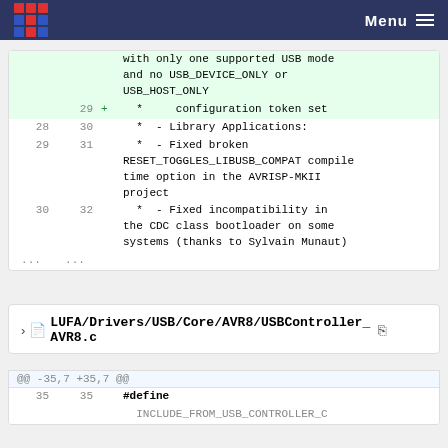Menu
with only one supported USB mode and no USB_DEVICE_ONLY or USB_HOST_ONLY
29 + * configuration token set
28 30 * - Library Applications:
29 31 * - Fixed broken RESET_TOGGLES_LIBUSB_COMPAT compile time option in the AVRISP-MKII project
30 32 * - Fixed incompatibility in the CDC class bootloader on some systems (thanks to Sylvain Munaut)
... ...
LUFA/Drivers/USB/Core/AVR8/USBController_AVR8.c
@@ -35,7 +35,7 @@
35 35 #define INCLUDE_FROM_USB_CONTROLLER_C